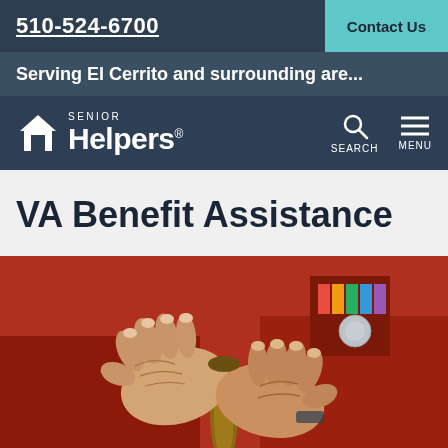510-524-6700   Contact Us
Serving El Cerrito and surrounding are...
[Figure (logo): Senior Helpers logo with house icon and search/menu navigation icons]
VA Benefit Assistance
[Figure (photo): Close-up photo of elderly veteran's wrinkled hands resting on a wooden cane, wearing a red jacket with military medals/ribbons visible on chest]